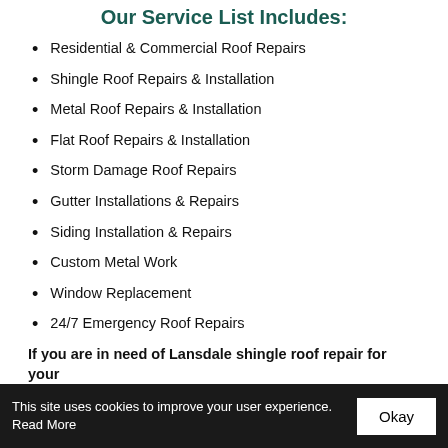Our Service List Includes:
Residential & Commercial Roof Repairs
Shingle Roof Repairs & Installation
Metal Roof Repairs & Installation
Flat Roof Repairs & Installation
Storm Damage Roof Repairs
Gutter Installations & Repairs
Siding Installation & Repairs
Custom Metal Work
Window Replacement
24/7 Emergency Roof Repairs
If you are in need of Lansdale shingle roof repair for your
This site uses cookies to improve your user experience. Read More